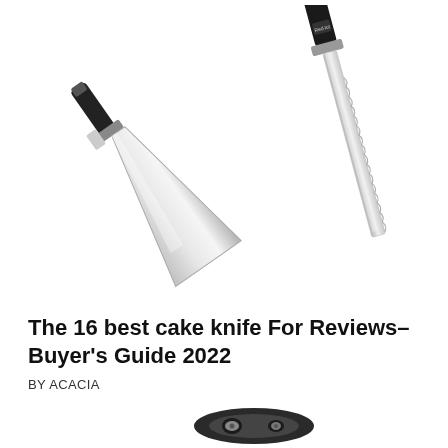[Figure (photo): Two cake knives/serving utensils on a white background: a wide triangular cake server on the left with a black handle and chrome finish, and a serrated cake knife on the right with a black handle. The knife on the right has a small logo near the top.]
The 16 best cake knife For Reviews– Buyer's Guide 2022
BY ACACIA
[Figure (photo): Partial view of a kitchen tool (likely a can opener or similar utensil) with a black and grey handle, cropped at the bottom of the page.]